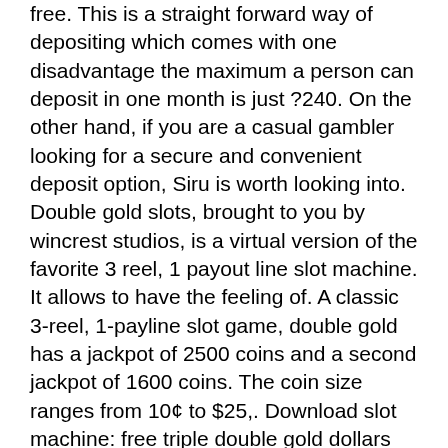free. This is a straight forward way of depositing which comes with one disadvantage the maximum a person can deposit in one month is just ?240. On the other hand, if you are a casual gambler looking for a secure and convenient deposit option, Siru is worth looking into. Double gold slots, brought to you by wincrest studios, is a virtual version of the favorite 3 reel, 1 payout line slot machine. It allows to have the feeling of. A classic 3-reel, 1-payline slot game, double gold has a jackpot of 2500 coins and a second jackpot of 1600 coins. The coin size ranges from 10¢ to $25,. Download slot machine: free triple double gold dollars apk 1. Play for free the best las vegas slots with huge payout and exciting bonus. Unlike many mobile games, double gold slots is very easy to play. Wanted to buy mills and jennings slot machines. Demand for slot machines grows. Casino games for phone you can pick 3 free spins with 9x